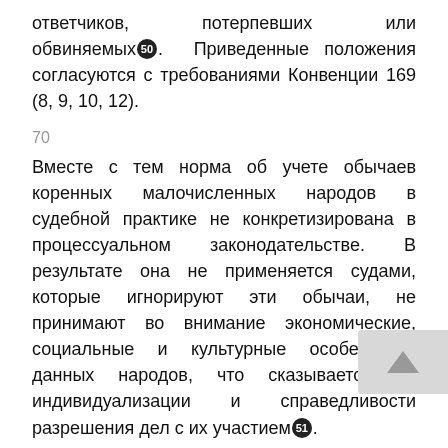ответчиков, потерпевших или обвиняемых[50]. Приведенные положения согласуются с требованиями Конвенции 169 (8, 9, 10, 12).
70
Вместе с тем норма об учете обычаев коренных малочисленных народов в судебной практике не конкретизирована в процессуальном законодательстве. В результате она не применяется судами, которые игнорируют эти обычаи, не принимают во внимание экономические, социальные и культурные особенности данных народов, что сказывается на индивидуализации и справедливости разрешения дел с их участием[51].
71
Заключение